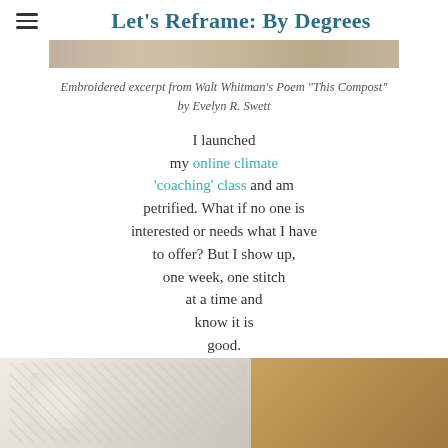Let's Reframe: By Degrees
[Figure (photo): Partial photo of embroidered textile artwork at top of page]
Embroidered excerpt from Walt Whitman's Poem "This Compost" by Evelyn R. Swett
I launched my online climate 'coaching' class and am petrified. What if no one is interested or needs what I have to offer? But I show up, one week, one stitch at a time and know it is good.
[Figure (photo): Photo of embroidered textile work on a table in a home setting, partially cropped at bottom of page]